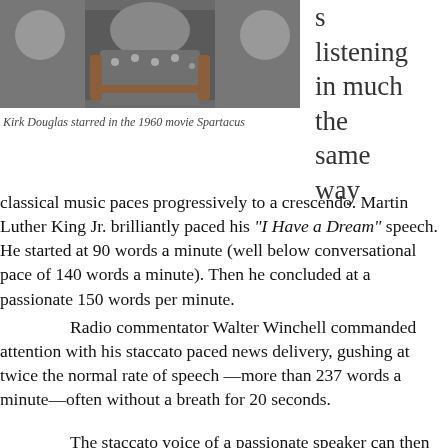[Figure (photo): A scene from the 1960 movie Spartacus showing a person in ancient warrior armor]
Kirk Douglas starred in the 1960 movie Spartacus
s listening in much the same way
classical music paces progressively to a crescendo. Martin Luther King Jr. brilliantly paced his “I Have a Dream” speech. He started at 90 words a minute (well below conversational pace of 140 words a minute). Then he concluded at a passionate 150 words per minute.
Radio commentator Walter Winchell commanded attention with his staccato paced news delivery, gushing at twice the normal rate of speech —more than 237 words a minute—often without a breath for 20 seconds.
The staccato voice of a passionate speaker can then be heard even faster, almost as fast as the violinist